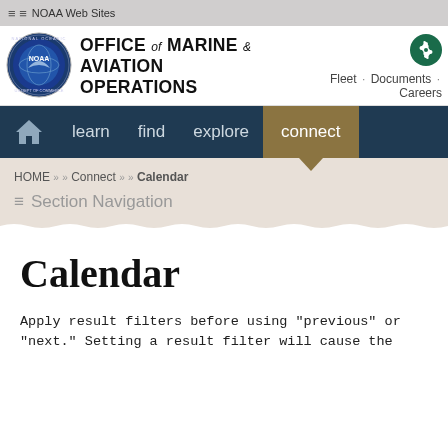≡ ≡ NOAA Web Sites
[Figure (logo): NOAA circular logo with eagle and globe]
OFFICE of MARINE & AVIATION OPERATIONS
Fleet · Documents · Careers
home  learn  find  explore  connect
HOME >> Connect >> Calendar
≡ Section Navigation
Calendar
Apply result filters before using "previous" or "next." Setting a result filter will cause the